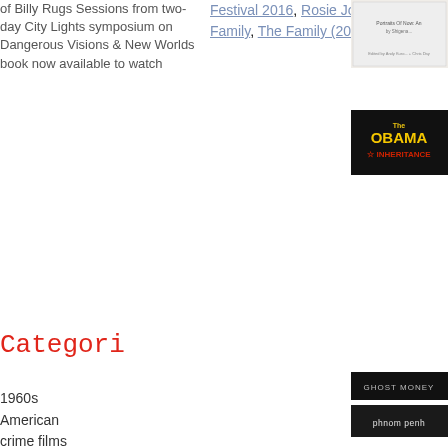of Billy Rugs Sessions from two-day City Lights symposium on Dangerous Visions & New Worlds book now available to watch
Festival 2016, Rosie Jones, The Family, The Family (2016)
[Figure (photo): Book cover thumbnail - small white book cover with text]
[Figure (photo): The Obama Inheritance book cover - black background with red and yellow text]
[Figure (photo): Ghost Money - black background with text GHOST MONEY]
Categori
1960s
American crime films
[Figure (photo): Phnom Penh - dark thumbnail with white text]